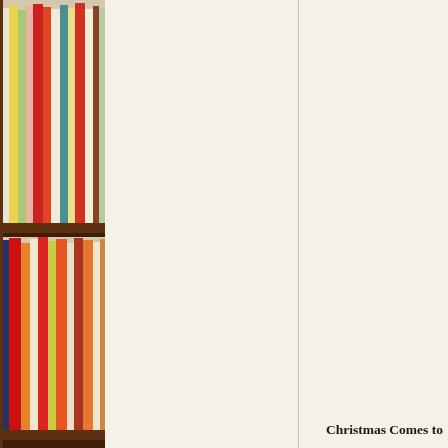[Figure (illustration): Left side of page shows a bookshelf with multiple shelves filled with colorful books (red, orange, yellow, green, blue, white spines) in a dark brown wooden bookcase, cropped so only the left portion is visible.]
Christmas Comes to